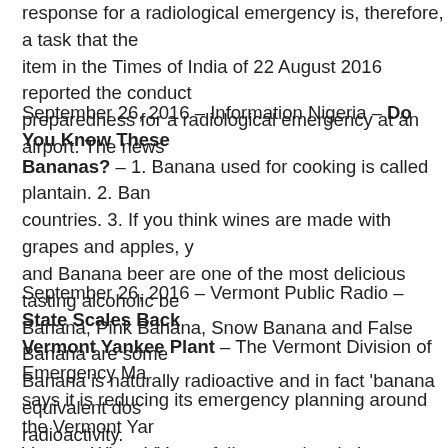response for a radiological emergency is, therefore, a task that the item in the Times of India of 22 August 2016 reported the conduct preparedness for a radiological emergency at an airport. The news
September 26, 2016 – Information Nigeria – Do You Know These Bananas? – 1. Banana used for cooking is called plantain. 2. Ban countries. 3. If you think wines are made with grapes and apples, y and Banana beer are one of the most delicious tasting alcoholic be Banana, Pink Banana, Snow Banana and False Banana are some Banana is naturally radioactive and in fact 'banana equivalent dos radioactivity.
September 26, 2016 – Vermont Public Radio – State Scales Back Vermont Yankee Plant – The Vermont Division of Emergency Ma says it is reducing its emergency planning around the Vermont Yar Vernon. When VY was fully operational, the department ran freque the plant. But without active nuclear fuel at Vermont Yankee, there according to Glenn Herrin, the emergency planning zone planner a Radiological Emergency Response Program. Herrin and Planning talked about the state's new emergency plans at a meeting of the Decommissioning Citizens Advisory Board in Brattleboro. The